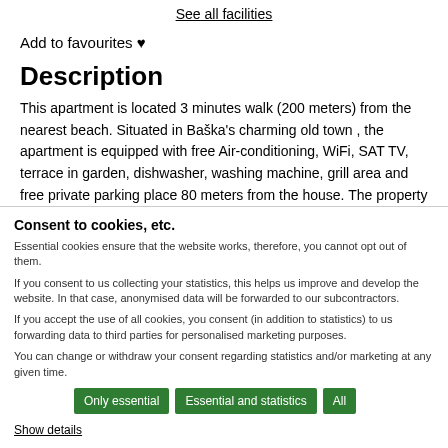See all facilities
Add to favourites ♥
Description
This apartment is located 3 minutes walk (200 meters) from the nearest beach. Situated in Baška's charming old town , the apartment is equipped with free Air-conditioning, WiFi, SAT TV, terrace in garden, dishwasher, washing machine, grill area and free private parking place 80 meters from the house. The property is also close to grocery store and restaurants. Welcome :)
Consent to cookies, etc.
Essential cookies ensure that the website works, therefore, you cannot opt out of them.
If you consent to us collecting your statistics, this helps us improve and develop the website. In that case, anonymised data will be forwarded to our subcontractors.
If you accept the use of all cookies, you consent (in addition to statistics) to us forwarding data to third parties for personalised marketing purposes.
You can change or withdraw your consent regarding statistics and/or marketing at any given time.
Only essential | Essential and statistics | All
Show details